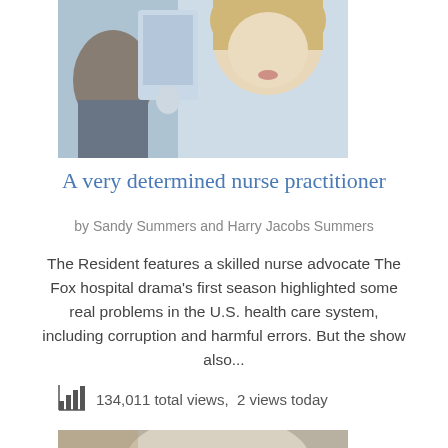[Figure (photo): Medical professional scene with a blonde woman and a person in background near medical equipment]
A very determined nurse practitioner
by Sandy Summers and Harry Jacobs Summers
The Resident features a skilled nurse advocate The Fox hospital drama's first season highlighted some real problems in the U.S. health care system, including corruption and harmful errors. But the show also...
134,011 total views,  2 views today
[Figure (photo): Elderly man with glasses close up portrait, medical or health related context]
Translate »